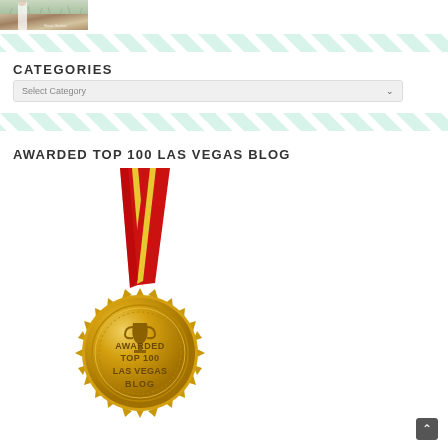[Figure (photo): Partial photo of a woman in white dress in a field with dried grasses]
[Figure (illustration): Diagonal mint/teal stripe pattern divider]
CATEGORIES
[Figure (screenshot): Select Category dropdown input box]
[Figure (illustration): Diagonal mint/teal stripe pattern divider]
AWARDED TOP 100 LAS VEGAS BLOG
[Figure (illustration): Gold award medal with red ribbon that reads AWARDED TOP 100 LAS VEGAS BLOG with a trophy icon]